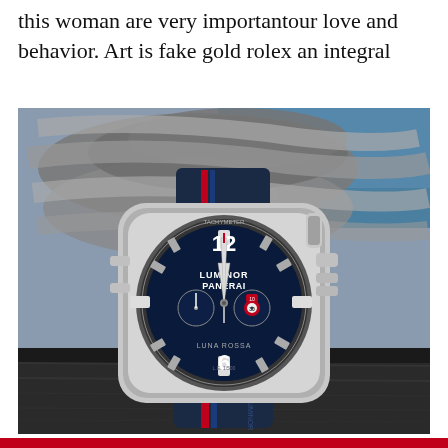this woman are very importantour love and behavior. Art is fake gold rolex an integral
[Figure (photo): A Panerai Luminor Luna Rossa chronograph watch with navy blue dial featuring the number 12 and 6 prominently, tachymeter bezel, red accents, silver case, and a navy leather strap with a red stripe. The watch is photographed against grey braided ropes and blue water, resting on a wooden dock surface.]